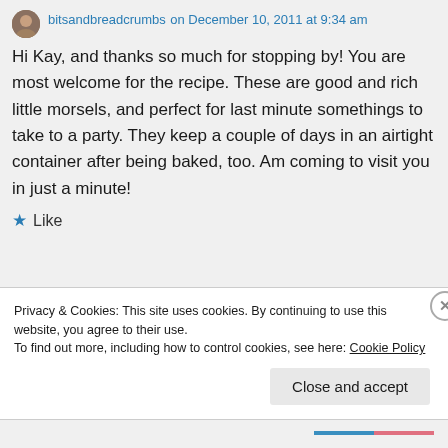bitsandbreadcrumbs on December 10, 2011 at 9:34 am
Hi Kay, and thanks so much for stopping by! You are most welcome for the recipe. These are good and rich little morsels, and perfect for last minute somethings to take to a party. They keep a couple of days in an airtight container after being baked, too. Am coming to visit you in just a minute!
★ Like
Privacy & Cookies: This site uses cookies. By continuing to use this website, you agree to their use.
To find out more, including how to control cookies, see here: Cookie Policy